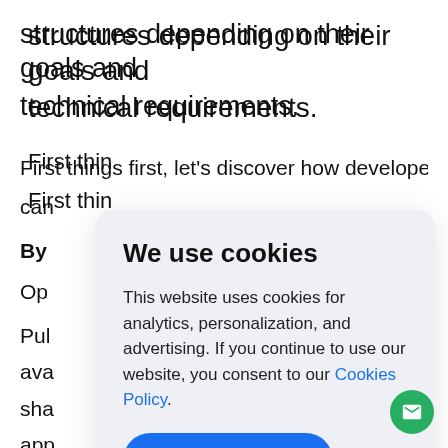structures depending on their goals and technical requirements.
First things first, let's discover how developers can
By
Op
Pul
ava
sha
app
[Figure (screenshot): Cookie consent modal dialog with title 'We use cookies', body text about cookies for analytics, personalization, and advertising with a Cookies Policy link, and an Accept button. A green chat bubble icon appears in the bottom right corner.]